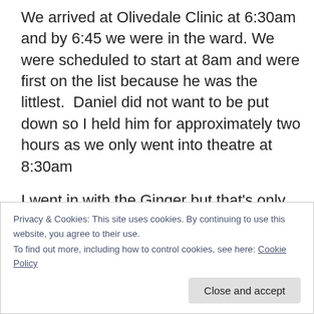We arrived at Olivedale Clinic at 6:30am and by 6:45 we were in the ward. We were scheduled to start at 8am and were first on the list because he was the littlest.  Daniel did not want to be put down so I held him for approximately two hours as we only went into theatre at 8:30am
I went in with the Ginger but that's only because he is a little mommified at the moment. Dr Van der nest does it differently in that you go in with your child and hold them while they put on the the gas mask to make them sleep. I was told its not long but let me tell you 45 seconds when
Privacy & Cookies: This site uses cookies. By continuing to use this website, you agree to their use.
To find out more, including how to control cookies, see here: Cookie Policy